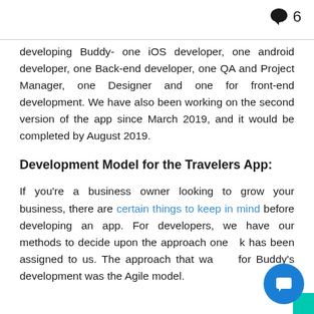6
developing Buddy- one iOS developer, one android developer, one Back-end developer, one QA and Project Manager, one Designer and one for front-end development. We have also been working on the second version of the app since March 2019, and it would be completed by August 2019.
Development Model for the Travelers App:
If you're a business owner looking to grow your business, there are certain things to keep in mind before developing an app. For developers, we have our methods to decide upon the approach one has been assigned to us. The approach that was for Buddy's development was the Agile model.